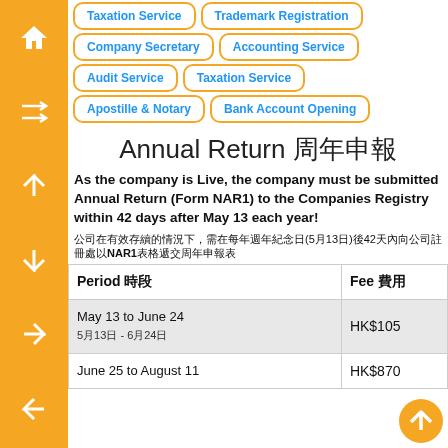Taxation Service
Trademark Registration
Company Secretary
Accounting Service
Audit Service
Taxation Service
Apostille & Notary
Bank Account Opening
Annual Return 周年申報
As the company is Live, the company must be submitted Annual Return (Form NAR1) to the Companies Registry within 42 days after May 13 each year!
公司在有效存續的情況下，需在每年週年紀念日(5月13日)後42天內向公司註冊處以NAR1表格遞交周年申報表
| Period 時段 | Fee 費用 |
| --- | --- |
| May 13 to June 24
5月13日 - 6月24日 | HK$105 |
| June 25 to August 11 | HK$870 |